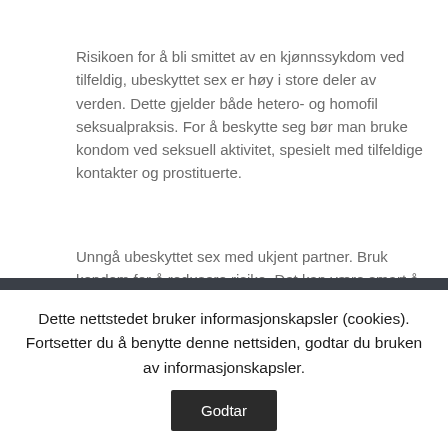Risikoen for å bli smittet av en kjønnssykdom ved tilfeldig, ubeskyttet sex er høy i store deler av verden. Dette gjelder både hetero- og homofil seksualpraksis. For å beskytte seg bør man bruke kondom ved seksuell aktivitet, spesielt med tilfeldige kontakter og prostituerte.
Unngå ubeskyttet sex med ukjent partner. Bruk kondom for å redusere risiko. Det kan være smart å ta det med hjemmefra.
Kilde: FHI
Dette nettstedet bruker informasjonskapsler (cookies). Fortsetter du å benytte denne nettsiden, godtar du bruken av informasjonskapsler.